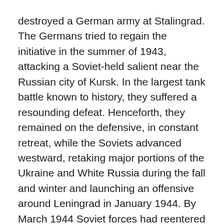destroyed a German army at Stalingrad. The Germans tried to regain the initiative in the summer of 1943, attacking a Soviet-held salient near the Russian city of Kursk. In the largest tank battle known to history, they suffered a resounding defeat. Henceforth, they remained on the defensive, in constant retreat, while the Soviets advanced westward, retaking major portions of the Ukraine and White Russia during the fall and winter and launching an offensive around Leningrad in January 1944. By March 1944 Soviet forces had reentered Polish territory, and a Soviet summer offensive had prevented the Germans from transferring troops to France.
“Sherman Tanks Passing Stream of German Prisoners” by Ogden Pleissner. After seven weeks of slow, costly advances against determined